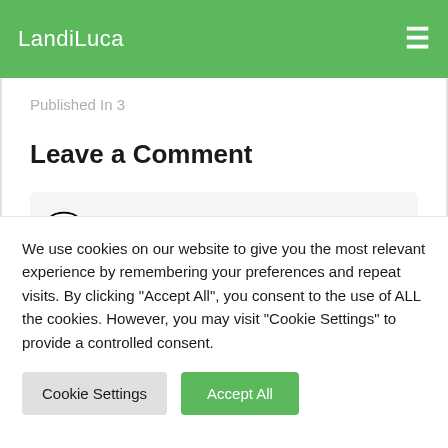LandiLuca
Published In 3
Leave a Comment
Your Comment
We use cookies on our website to give you the most relevant experience by remembering your preferences and repeat visits. By clicking "Accept All", you consent to the use of ALL the cookies. However, you may visit "Cookie Settings" to provide a controlled consent.
Cookie Settings | Accept All